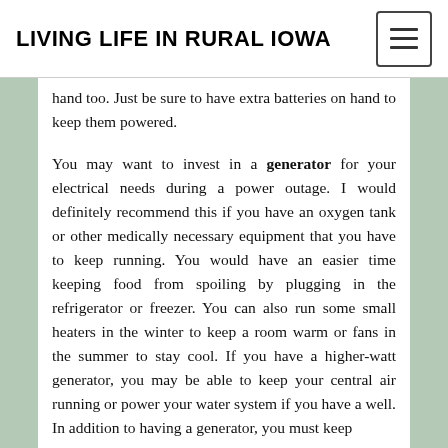LIVING LIFE IN RURAL IOWA
hand too. Just be sure to have extra batteries on hand to keep them powered.
You may want to invest in a generator for your electrical needs during a power outage. I would definitely recommend this if you have an oxygen tank or other medically necessary equipment that you have to keep running. You would have an easier time keeping food from spoiling by plugging in the refrigerator or freezer. You can also run some small heaters in the winter to keep a room warm or fans in the summer to stay cool. If you have a higher-watt generator, you may be able to keep your central air running or power your water system if you have a well. In addition to having a generator, you must keep